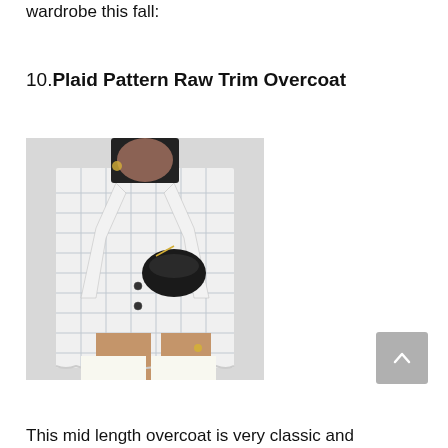wardrobe this fall:
10. Plaid Pattern Raw Trim Overcoat
[Figure (photo): A person wearing a white/light plaid pattern raw trim overcoat over a black turtleneck, holding a small black bag, showing legs below the overcoat.]
This mid length overcoat is very classic and